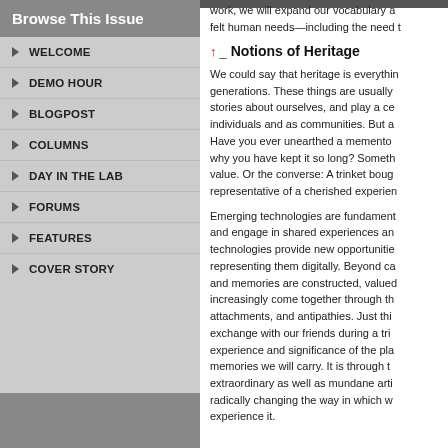Browse This Issue
WELCOME
DEMO HOUR
BLOGPOST
COLUMNS
DAY IN THE LAB
FORUMS
FEATURES
COVER STORY
work, we will expand our vocabulary a felt human needs—including the need t
Notions of Heritage
We could say that heritage is everythin generations. These things are usually stories about ourselves, and play a ce individuals and as communities. But a Have you ever unearthed a memento why you have kept it so long? Someth value. Or the converse: A trinket boug representative of a cherished experien
Emerging technologies are fundament and engage in shared experiences an technologies provide new opportunitie representing them digitally. Beyond ca and memories are constructed, valued increasingly come together through th attachments, and antipathies. Just thi exchange with our friends during a tri experience and significance of the pla memories we will carry. It is through t extraordinary as well as mundane arti radically changing the way in which w experience it.